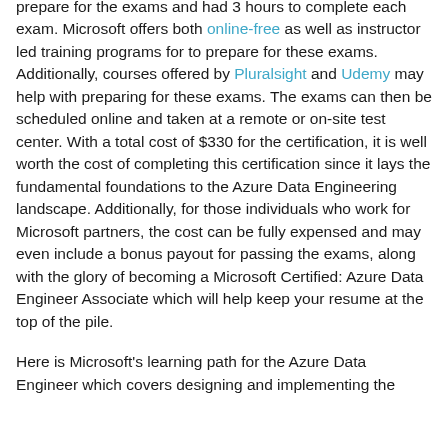prepare for the exams and had 3 hours to complete each exam. Microsoft offers both online-free as well as instructor led training programs for to prepare for these exams. Additionally, courses offered by Pluralsight and Udemy may help with preparing for these exams. The exams can then be scheduled online and taken at a remote or on-site test center. With a total cost of $330 for the certification, it is well worth the cost of completing this certification since it lays the fundamental foundations to the Azure Data Engineering landscape. Additionally, for those individuals who work for Microsoft partners, the cost can be fully expensed and may even include a bonus payout for passing the exams, along with the glory of becoming a Microsoft Certified: Azure Data Engineer Associate which will help keep your resume at the top of the pile.
Here is Microsoft's learning path for the Azure Data Engineer which covers designing and implementing the